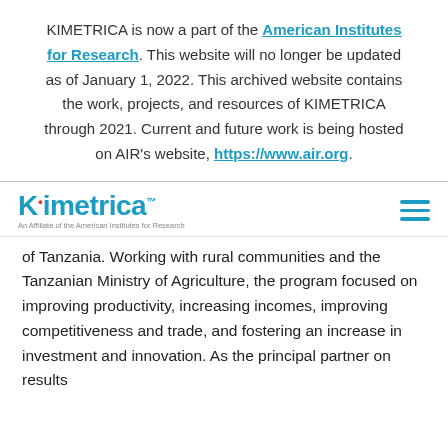KIMETRICA is now a part of the American Institutes for Research. This website will no longer be updated as of January 1, 2022. This archived website contains the work, projects, and resources of KIMETRICA through 2021. Current and future work is being hosted on AIR's website, https://www.air.org.
[Figure (logo): Kimetrica logo with red dot on K, blue text, and tagline 'An Affiliate of the American Institutes for Research']
of Tanzania. Working with rural communities and the Tanzanian Ministry of Agriculture, the program focused on improving productivity, increasing incomes, improving competitiveness and trade, and fostering an increase in investment and innovation. As the principal partner on results